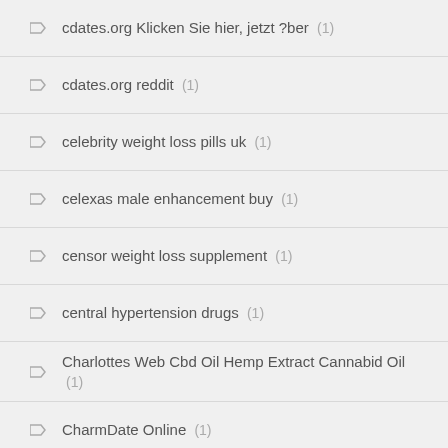cdates.org Klicken Sie hier, jetzt ?ber (1)
cdates.org reddit (1)
celebrity weight loss pills uk (1)
celexas male enhancement buy (1)
censor weight loss supplement (1)
central hypertension drugs (1)
Charlottes Web Cbd Oil Hemp Extract Cannabid Oil (1)
CharmDate Online (1)
charmdate reviews (1)
Charolettes Eeb Cbd Hemp Infused Balm (1)